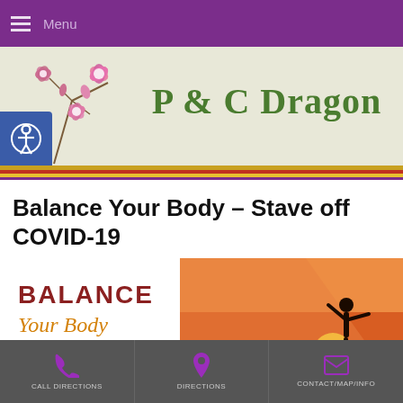≡ Menu
[Figure (logo): P & C Dragon website header banner with pink orchid flowers on left, olive green text 'P & C Dragon' on beige background, with colored stripes (gold, red, yellow, purple) at bottom and blue accessibility icon]
Balance Your Body – Stave off COVID-19
[Figure (illustration): Promotional banner image with white left panel showing text 'BALANCE Your Body Stave off COVID-19' in dark red/orange colors, and right panel showing silhouette of person balancing on one leg with arms outstretched against orange sunset sky]
Call Directions | Directions | Contact/Map/Info